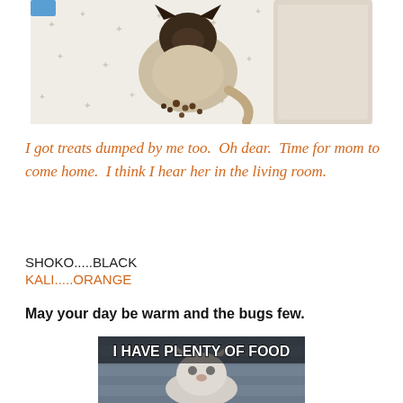[Figure (photo): A Siamese cat eating kibble on a patterned white bedsheet, viewed from above]
I got treats dumped by me too.  Oh dear.  Time for mom to come home.  I think I hear her in the living room.
SHOKO.....BLACK
KALI.....ORANGE
May your day be warm and the bugs few.
[Figure (photo): Cat meme image with text 'I HAVE PLENTY OF FOOD']